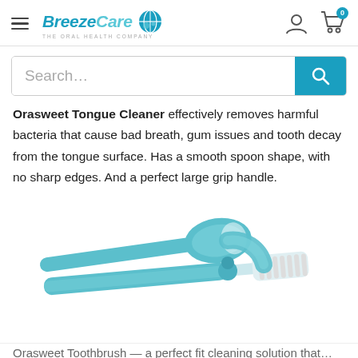BreezeCare THE ORAL HEALTH COMPANY — navigation header with hamburger menu, logo, globe icon, user icon, cart icon (0)
Search...
Orasweet Tongue Cleaner effectively removes harmful bacteria that cause bad breath, gum issues and tooth decay from the tongue surface. Has a smooth spoon shape, with no sharp edges. And a perfect large grip handle.
[Figure (photo): Two teal/turquoise dental products: a tongue cleaner with spoon-shaped head and large grip handle, and a toothbrush with white bristles, shown on a white background.]
Orasweet Toothbrush — partially visible text at bottom of page